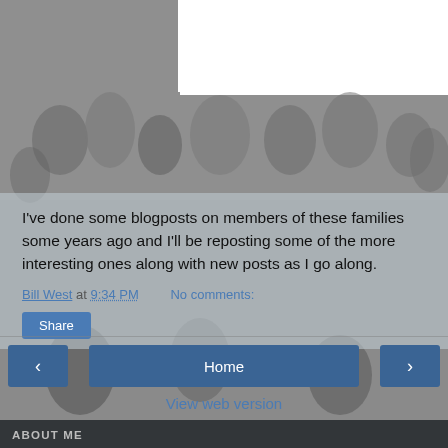[Figure (photo): Grayscale historical group photograph used as page background]
I've done some blogposts on members of these families some years ago and I'll be reposting some of the more interesting ones along with new posts as I go along.
Bill West at 9:34 PM    No comments:
Share
Home
View web version
ABOUT ME
[Figure (photo): Small black and white photo of two children, used as profile photo for Bill West]
Bill West
I'm a 71 year old retired bookseller with a computer and an interest in genealogy and history. Email:BillWest48(at)gmail(dot)com. (If you are not a